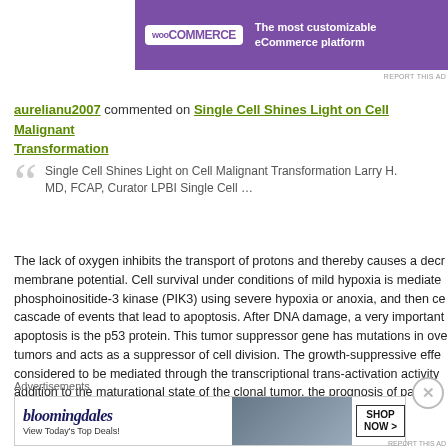[Figure (screenshot): WooCommerce advertisement banner: purple background with WooCommerce logo and text 'The most customizable eCommerce platform']
REPORT THIS AD
aurelianu2007 commented on Single Cell Shines Light on Cell Malignant Transformation
Single Cell Shines Light on Cell Malignant Transformation Larry H. MD, FCAP, Curator LPBI Single Cell …
The lack of oxygen inhibits the transport of protons and thereby causes a decrease in membrane potential. Cell survival under conditions of mild hypoxia is mediated by phosphoinositide-3 kinase (PIK3) using severe hypoxia or anoxia, and then ce cascade of events that lead to apoptosis. After DNA damage, a very important apoptosis is the p53 protein. This tumor suppressor gene has mutations in ove tumors and acts as a suppressor of cell division. The growth-suppressive effe considered to be mediated through the transcriptional trans-activation activity addition to the maturational state of the clonal tumor, the prognosis of patients
Advertisements
[Figure (screenshot): Bloomingdale's advertisement: 'View Today's Top Deals!' with SHOP NOW button]